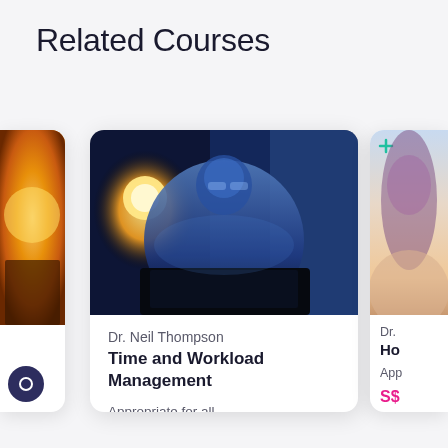Related Courses
[Figure (photo): Course card: photo of a person studying at night with laptop and lamp glow. Instructor: Dr. Neil Thompson. Course: Time and Workload Management. Level: Appropriate for all. Price: S$17.85 (original S$35.85).]
Dr. Neil Thompson
Time and Workload Management
Appropriate for all
S$17.85 S$35.85
[Figure (photo): Partial right card showing a person, with partial text: Dr. and Ho and App and S$]
[Figure (photo): Partial left card showing warm orange-toned photo]